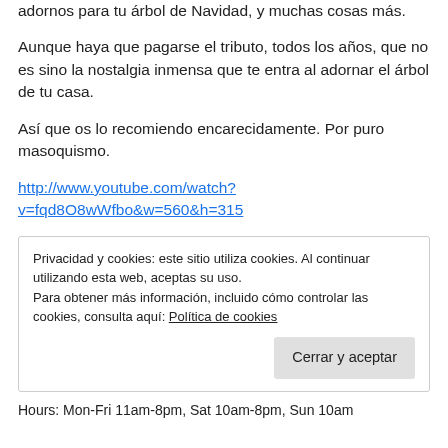adornos para tu árbol de Navidad, y muchas cosas más.
Aunque haya que pagarse el tributo, todos los años, que no es sino la nostalgia inmensa que te entra al adornar el árbol de tu casa.
Así que os lo recomiendo encarecidamente. Por puro masoquismo.
http://www.youtube.com/watch?v=fqd8O8wWfbo&w=560&h=315
Privacidad y cookies: este sitio utiliza cookies. Al continuar utilizando esta web, aceptas su uso.
Para obtener más información, incluido cómo controlar las cookies, consulta aquí: Política de cookies
Cerrar y aceptar
Hours: Mon-Fri 11am-8pm, Sat 10am-8pm, Sun 10am